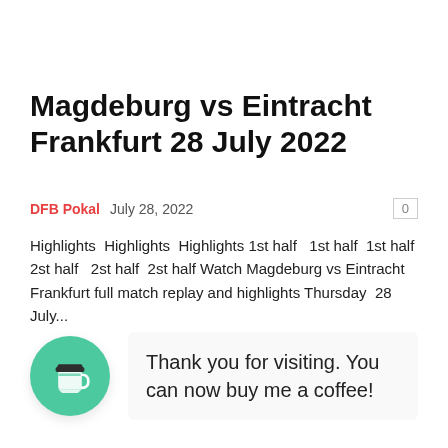Magdeburg vs Eintracht Frankfurt 28 July 2022
DFB Pokal   July 28, 2022   0
Highlights  Highlights  Highlights 1st half   1st half  1st half 2st half   2st half  2st half Watch Magdeburg vs Eintracht Frankfurt full match replay and highlights Thursday  28 July...
[Figure (illustration): Green circular coffee cup icon next to a thank you message box saying 'Thank you for visiting. You can now buy me a coffee!']